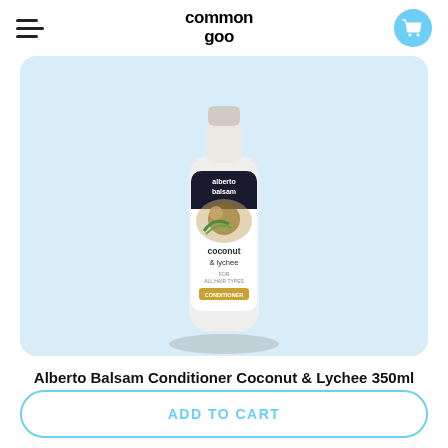common goo
[Figure (photo): Alberto Balsam Conditioner Coconut & Lychee 350ml bottle on light blue background]
Alberto Balsam Conditioner Coconut & Lychee 350ml (Pack of 6 x 350ml)
£6.49
ADD TO CART